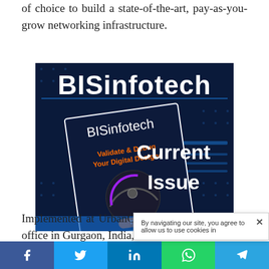of choice to build a state-of-the-art, pay-as-you-grow networking infrastructure.
[Figure (illustration): BISinfotech magazine current issue advertisement banner with dark blue background, showing magazine cover with 'Validate & Debug Your Digital Designs' text and 'BISinfotech Current Issue' branding.]
Implemented at UrbanClap's new 500-seat head office in Gurgaon, India, the ne[w] infra[structure is designed...]
By navigating our site, you agree to allow us to use cookies in...
f  t  in  [WhatsApp icon]  [Telegram icon]